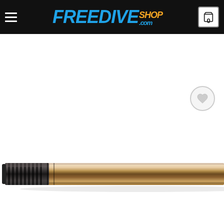FreediveShop.com
[Figure (photo): Close-up photo of a speargun shaft/rod with black threaded tip on the left end and a long dark bronze/brown metallic cylindrical body extending to the right.]